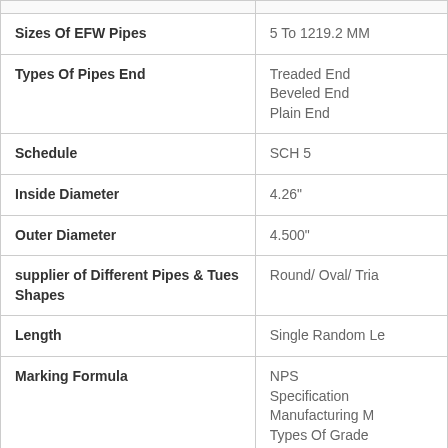| Property | Value |
| --- | --- |
| Sizes Of EFW Pipes | 5 To 1219.2 MM |
| Types Of Pipes End | Treaded End
Beveled End
Plain End |
| Schedule | SCH 5 |
| Inside Diameter | 4.26" |
| Outer Diameter | 4.500" |
| supplier of Different Pipes & Tues Shapes | Round/ Oval/ Tria... |
| Length | Single Random Le... |
| Marking Formula | NPS
Specification
Manufacturing M...
Types Of Grade
Wall Thickness
Surface/Manufa... |